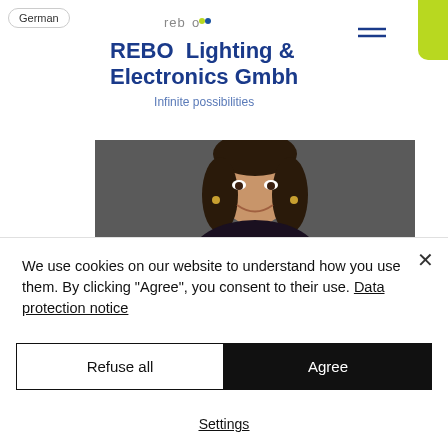German
[Figure (logo): rebo logo text in grey with colored dots]
REBO Lighting & Electronics Gmbh
Infinite possibilities
[Figure (photo): Smiling young woman with long dark hair wearing a dark floral patterned top, photographed against a dark background]
We use cookies on our website to understand how you use them. By clicking "Agree", you consent to their use. Data protection notice
Refuse all
Agree
Settings